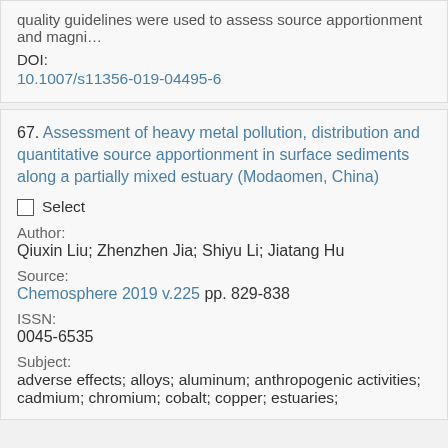quality guidelines were used to assess source apportionment and magni…
DOI:
10.1007/s11356-019-04495-6
67. Assessment of heavy metal pollution, distribution and quantitative source apportionment in surface sediments along a partially mixed estuary (Modaomen, China)
Select
Author:
Qiuxin Liu; Zhenzhen Jia; Shiyu Li; Jiatang Hu
Source:
Chemosphere 2019 v.225 pp. 829-838
ISSN:
0045-6535
Subject:
adverse effects; alloys; aluminum; anthropogenic activities; cadmium; chromium; cobalt; copper; estuaries;